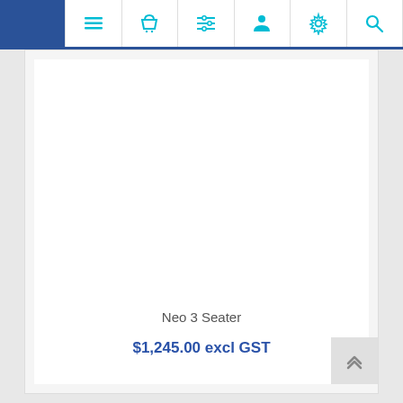[Figure (screenshot): Navigation bar with icons: menu (hamburger), shopping basket, list/filter, user/person, settings gear, and search magnifier — all in cyan/teal blue on white background with a dark blue top border strip]
Neo 3 Seater
$1,245.00 excl GST